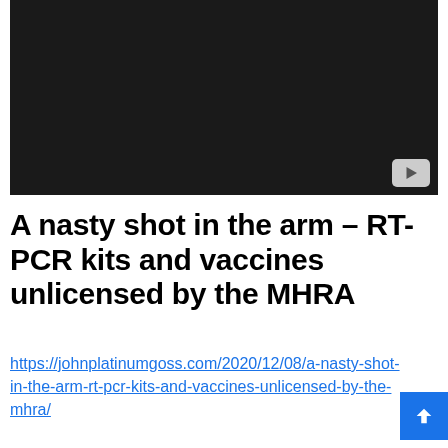[Figure (screenshot): Dark/black video thumbnail with a YouTube play button icon in the bottom-right corner]
A nasty shot in the arm – RT-PCR kits and vaccines unlicensed by the MHRA
https://johnplatinumgoss.com/2020/12/08/a-nasty-shot-in-the-arm-rt-pcr-kits-and-vaccines-unlicensed-by-the-mhra/